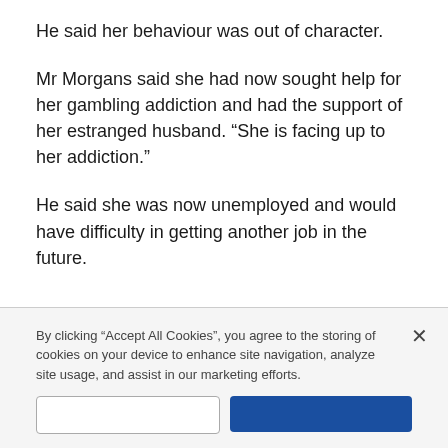He said her behaviour was out of character.
Mr Morgans said she had now sought help for her gambling addiction and had the support of her estranged husband. “She is facing up to her addiction.”
He said she was now unemployed and would have difficulty in getting another job in the future.
By clicking “Accept All Cookies”, you agree to the storing of cookies on your device to enhance site navigation, analyze site usage, and assist in our marketing efforts.